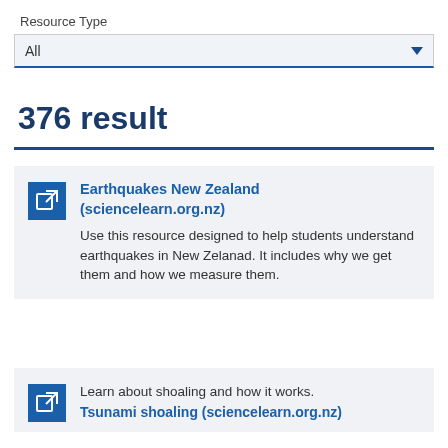Resource Type
All
376 result
Earthquakes New Zealand (sciencelearn.org.nz) — Use this resource designed to help students understand earthquakes in New Zelanad. It includes why we get them and how we measure them.
Learn about shoaling and how it works. Tsunami shoaling (sciencelearn.org.nz)